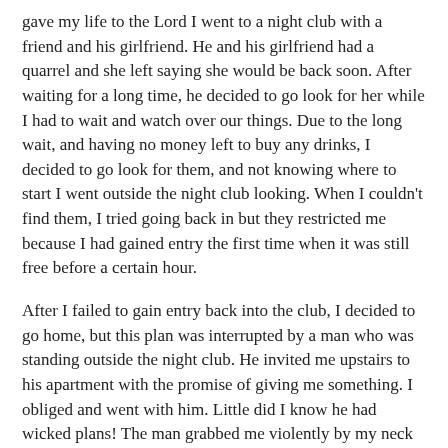gave my life to the Lord I went to a night club with a friend and his girlfriend. He and his girlfriend had a quarrel and she left saying she would be back soon. After waiting for a long time, he decided to go look for her while I had to wait and watch over our things. Due to the long wait, and having no money left to buy any drinks, I decided to go look for them, and not knowing where to start I went outside the night club looking. When I couldn't find them, I tried going back in but they restricted me because I had gained entry the first time when it was still free before a certain hour.
After I failed to gain entry back into the club, I decided to go home, but this plan was interrupted by a man who was standing outside the night club. He invited me upstairs to his apartment with the promise of giving me something. I obliged and went with him. Little did I know he had wicked plans! The man grabbed me violently by my neck and started choking me. He had such a firm grip on my neck that I could not scream for help. I was powerless to loosen his grip on me, and I felt that I was losing consciousness. As an only option, I yelled with all I had: “Lord Jesus, help me!” This is the soul truth my brethren – the man released me almost immediately. Upon my release from his firm grasp, I ran home without looking back. This was my folly for trusting a stranger